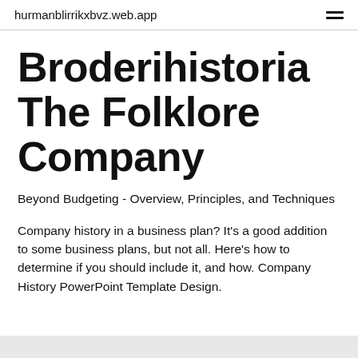hurmanblirrikxbvz.web.app
Broderihistoria The Folklore Company
Beyond Budgeting - Overview, Principles, and Techniques
Company history in a business plan? It's a good addition to some business plans, but not all. Here's how to determine if you should include it, and how. Company History PowerPoint Template Design.